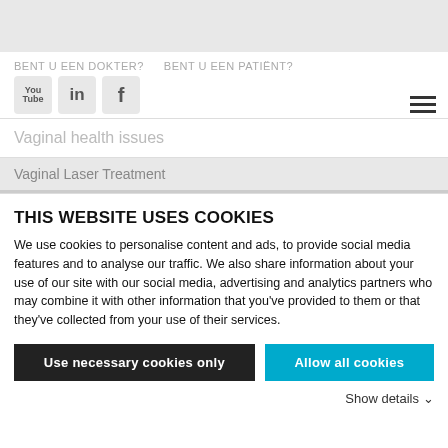BENT U EEN DOKTER?   BENT U EEN PATIËNT?
[Figure (screenshot): Social media icons: YouTube, LinkedIn, Facebook]
Vaginal health issues
Vaginal Laser Treatment
THIS WEBSITE USES COOKIES
We use cookies to personalise content and ads, to provide social media features and to analyse our traffic. We also share information about your use of our site with our social media, advertising and analytics partners who may combine it with other information that you've provided to them or that they've collected from your use of their services.
Use necessary cookies only
Allow all cookies
Show details